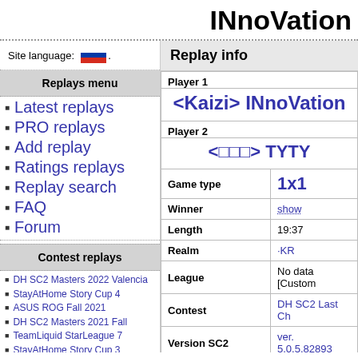INnoVation
Site language:
Replays menu
Latest replays
PRO replays
Add replay
Ratings replays
Replay search
FAQ
Forum
Contest replays
DH SC2 Masters 2022 Valencia
StayAtHome Story Cup 4
ASUS ROG Fall 2021
DH SC2 Masters 2021 Fall
TeamLiquid StarLeague 7
StayAtHome Story Cup 3
Replay info
| Field | Value |
| --- | --- |
| Player 1 | <Kaizi> INnoVation |
| Player 2 | <□□□> TYTY |
| Game type | 1x1 |
| Winner | show |
| Length | 19:37 |
| Realm | ·KR |
| League | No data [Custom |
| Contest | DH SC2 Last Ch |
| Version SC2 | ver. 5.0.5.82893 |
| Match date | 16th of January |
| Upload date | 19th of January |